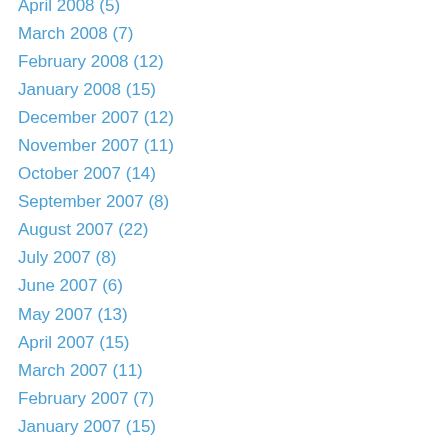April 2008 (5)
March 2008 (7)
February 2008 (12)
January 2008 (15)
December 2007 (12)
November 2007 (11)
October 2007 (14)
September 2007 (8)
August 2007 (22)
July 2007 (8)
June 2007 (6)
May 2007 (13)
April 2007 (15)
March 2007 (11)
February 2007 (7)
January 2007 (15)
December 2006 (11)
November 2006 (22)
October 2006 (17)